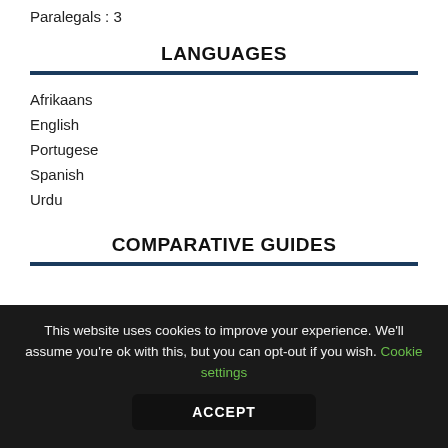Paralegals : 3
LANGUAGES
Afrikaans
English
Portugese
Spanish
Urdu
COMPARATIVE GUIDES
This website uses cookies to improve your experience. We'll assume you're ok with this, but you can opt-out if you wish. Cookie settings
ACCEPT